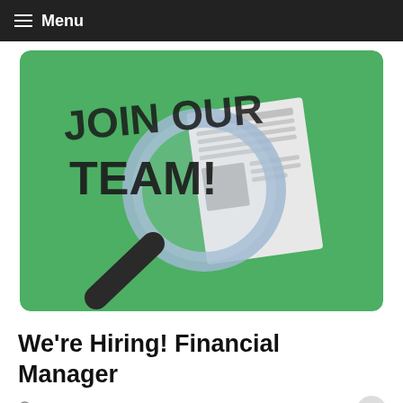Menu
[Figure (illustration): Recruitment illustration on a green background showing the text 'JOIN OUR TEAM!' with a magnifying glass over a newspaper/document]
We're Hiring! Financial Manager
July 28, 2022   Blog, Featured